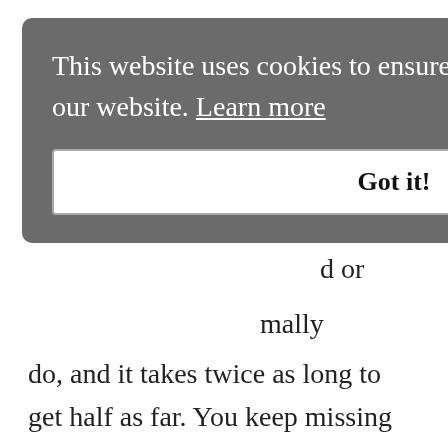[Figure (screenshot): Cookie consent overlay banner with gray background. Text reads: 'This website uses cookies to ensure you get the best experience on our website. Learn more' with a 'Got it!' button below.]
mally do, and it takes twice as long to get half as far. You keep missing the details and have to go back over it, doing the same thing over and over again. You need to give yourself plenty of time to get through work, and triple check everything. This period is best for any revising, editing old work, or doing something again you wanted another chance at. You could also go back to work for someone you worked for before, or in